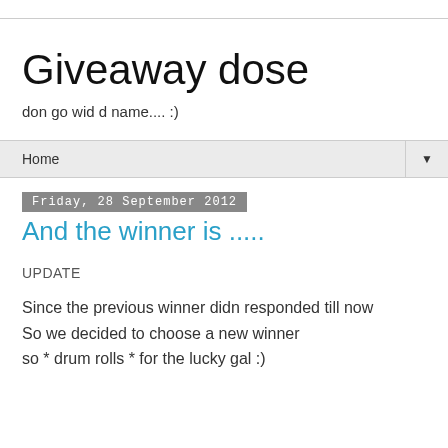Giveaway dose
don go wid d name.... :)
Home
Friday, 28 September 2012
And the winner is .....
UPDATE
Since the previous winner didn responded till now
So we decided to choose a new winner
so * drum rolls * for the lucky gal :)